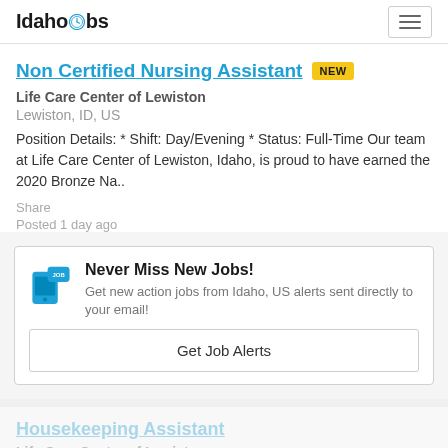IdahoJobs
Non Certified Nursing Assistant NEW
Life Care Center of Lewiston
Lewiston, ID, US
Position Details: * Shift: Day/Evening * Status: Full-Time Our team at Life Care Center of Lewiston, Idaho, is proud to have earned the 2020 Bronze Na..
Share
Posted 1 day ago
[Figure (infographic): Job alert promotional box with mobile phone icon labeled JOB, title Never Miss New Jobs!, subtitle Get new action jobs from Idaho, US alerts sent directly to your email!, and a Get Job Alerts button]
Housekeeping Assistant
Life Care Center of Lewiston